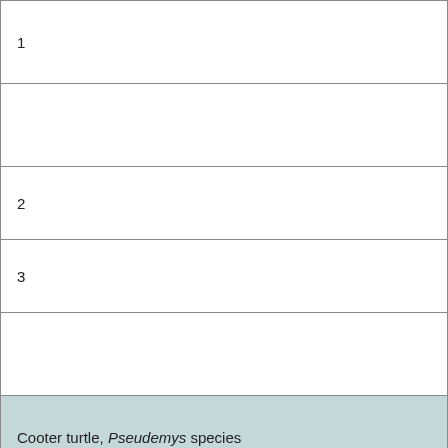| 1 |
|  |
| 2 |
| 3 |
|  |
| Cooter turtle, Pseudemys species |
| 2 |
|  |